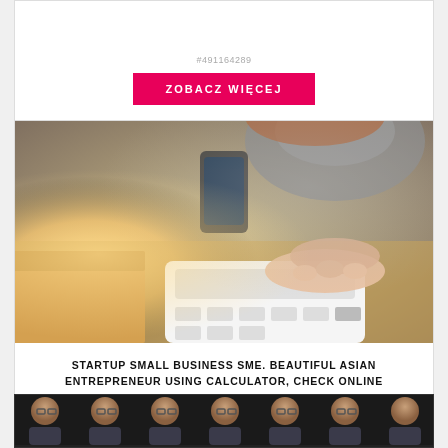#491164289
ZOBACZ WIĘCEJ
[Figure (photo): Woman using a calculator and holding a smartphone, with cardboard boxes on a desk. Business/SME concept photo.]
STARTUP SMALL BUSINESS SME. BEAUTIFUL ASIAN ENTREPRENEUR USING CALCULATOR, CHECK ONLINE ORDER AND PREPARE TO PACKING FOR CUSTOMER. SUCCESSFUL SME BUSINESS ONLINE CONCEPT.
#483568232
ZOBACZ WIĘCEJ
[Figure (photo): A row of people portraits against a dark background, partially visible at the bottom of the page.]